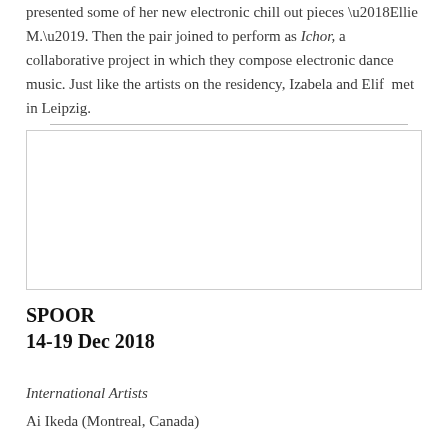presented some of her new electronic chill out pieces ‘Ellie M.’. Then the pair joined to perform as Ichor, a collaborative project in which they compose electronic dance music. Just like the artists on the residency, Izabela and Elif  met in Leipzig.
[Figure (photo): A white rectangular image placeholder or photo area with a light border.]
SPOOR
14-19 Dec 2018
International Artists
Ai Ikeda (Montreal, Canada)